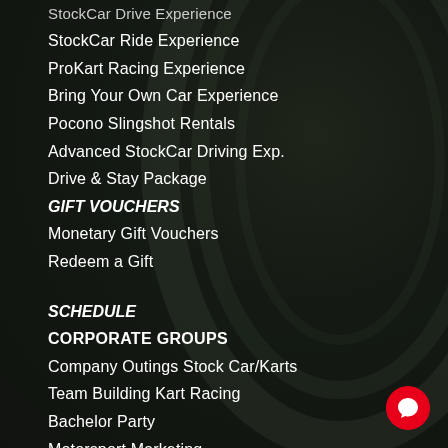StockCar Drive Experience
StockCar Ride Experience
ProKart Racing Experience
Bring Your Own Car Experience
Pocono Slingshot Rentals
Advanced StockCar Driving Exp.
Drive & Stay Package
GIFT VOUCHERS
Monetary Gift Vouchers
Redeem a Gift
SCHEDULE
CORPORATE GROUPS
Company Outings Stock Car/Karts
Team Building Kart Racing
Bachelor Party
Motorsport Marketing
PROMOS/DEALS